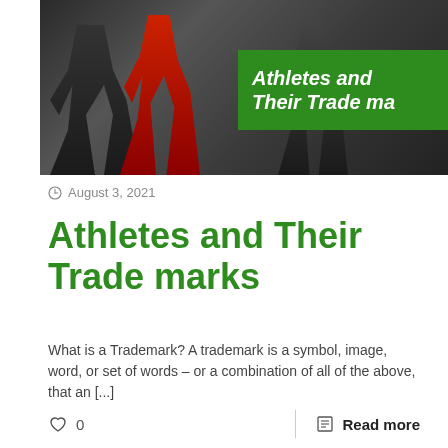[Figure (photo): Hero image showing athletes running/sprinting in dramatic lighting with a green banner overlay reading 'Athletes and Their Trade ma']
August 3, 2021
Athletes and Their Trade marks
What is a Trademark? A trademark is a symbol, image, word, or set of words – or a combination of all of the above, that an [...]
0
Read more